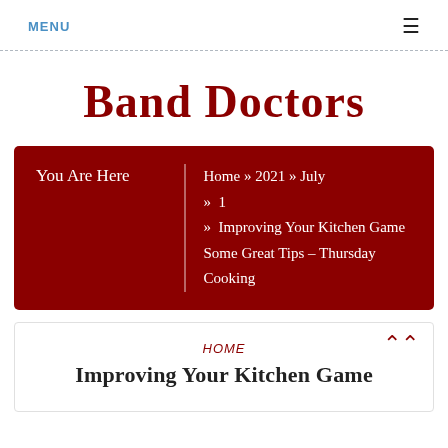MENU ☰
Band Doctors
You Are Here   Home » 2021 » July » 1 » Improving Your Kitchen Game Some Great Tips – Thursday Cooking
HOME
Improving Your Kitchen Game
HOME
Improving Your Kitchen Game